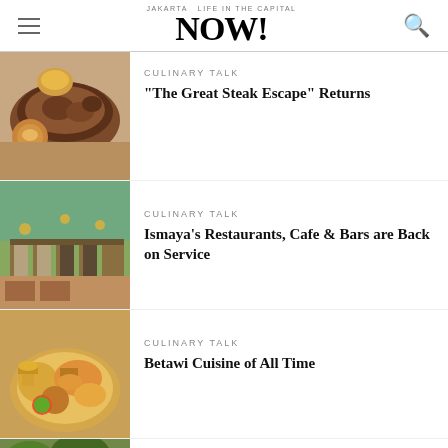JAKARTA NOW! Life in the capital
[Figure (photo): Grilled steak dish on a plate with sauce]
CULINARY TALK
“The Great Steak Escape” Returns
[Figure (photo): Restaurant interior with wooden decor and chalkboard menu]
CULINARY TALK
Ismaya’s Restaurants, Cafe & Bars are Back on Service
[Figure (photo): Betawi soup dish with vegetables and lime in a bowl]
CULINARY TALK
Betawi Cuisine of All Time
[Figure (photo): Partial view of another food dish (cut off at bottom)]